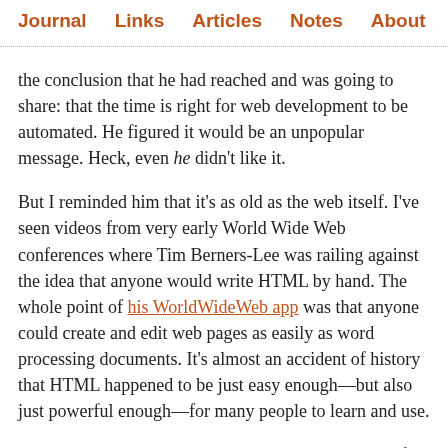Journal   Links   Articles   Notes   About
the conclusion that he had reached and was going to share: that the time is right for web development to be automated. He figured it would be an unpopular message. Heck, even he didn't like it.
But I reminded him that it's as old as the web itself. I've seen videos from very early World Wide Web conferences where Tim Berners-Lee was railing against the idea that anyone would write HTML by hand. The whole point of his WorldWideWeb app was that anyone could create and edit web pages as easily as word processing documents. It's almost an accident of history that HTML happened to be just easy enough—but also just powerful enough—for many people to learn and use.
Anyway, I thoroughly enjoyed Laurie's talk. (Except for a weird bit where he dunks on people moaning about "the